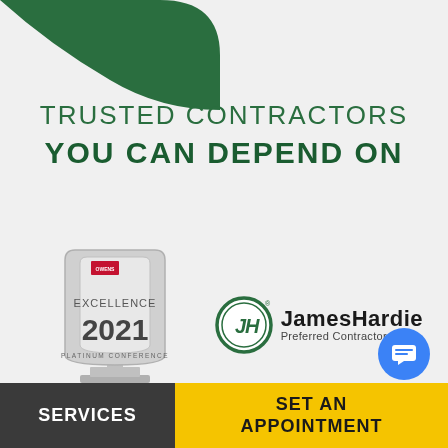[Figure (illustration): Green rounded decorative shape in the top-left corner of the page]
TRUSTED CONTRACTORS YOU CAN DEPEND ON
[Figure (logo): Owens Corning Excellence 2021 Platinum Conference award trophy logo]
[Figure (logo): James Hardie Preferred Contractor logo with circular JH emblem and brand name]
[Figure (illustration): Blue circular chat button with message icon]
[Figure (illustration): Chat/speech bubble icon in bottom right corner]
SERVICES
SET AN APPOINTMENT